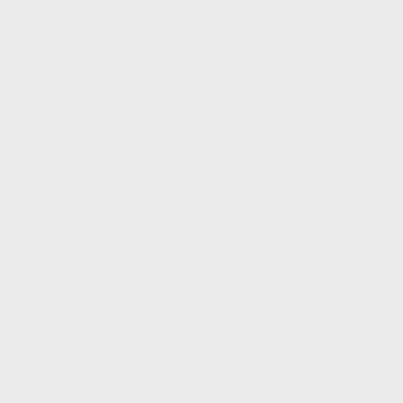https://gus.fzk.de/ws/ticket=58921 [external link]
CMS reports -
T0 Highlights
cosmics
data taking during machine development
Intervention on CMS production databases today in the afternoon will affect running
T1 Highlights
CMSSW SW tags failed to be